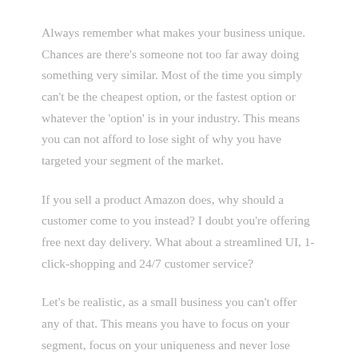Always remember what makes your business unique. Chances are there's someone not too far away doing something very similar. Most of the time you simply can't be the cheapest option, or the fastest option or whatever the 'option' is in your industry. This means you can not afford to lose sight of why you have targeted your segment of the market.
If you sell a product Amazon does, why should a customer come to you instead? I doubt you're offering free next day delivery. What about a streamlined UI, 1-click-shopping and 24/7 customer service?
Let's be realistic, as a small business you can't offer any of that. This means you have to focus on your segment, focus on your uniqueness and never lose sight of it. It's easy to say 'We'll have great customer